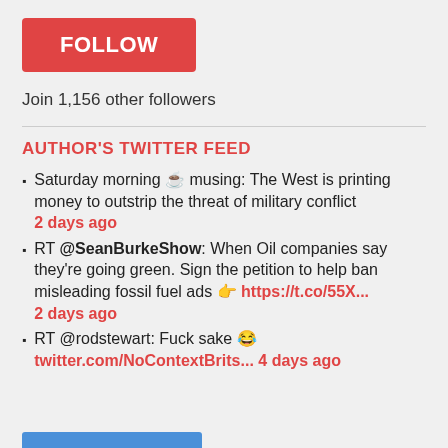FOLLOW
Join 1,156 other followers
AUTHOR'S TWITTER FEED
Saturday morning ☕ musing: The West is printing money to outstrip the threat of military conflict 2 days ago
RT @SeanBurkeShow: When Oil companies say they're going green. Sign the petition to help ban misleading fossil fuel ads 👉 https://t.co/55X... 2 days ago
RT @rodstewart: Fuck sake 😂 twitter.com/NoContextBrits... 4 days ago